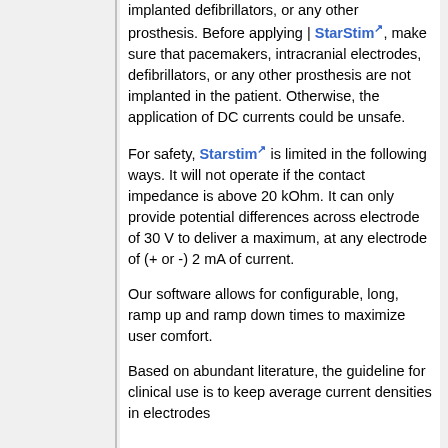implanted defibrillators, or any other prosthesis. Before applying | StarStim, make sure that pacemakers, intracranial electrodes, defibrillators, or any other prosthesis are not implanted in the patient. Otherwise, the application of DC currents could be unsafe.
For safety, Starstim is limited in the following ways. It will not operate if the contact impedance is above 20 kOhm. It can only provide potential differences across electrode of 30 V to deliver a maximum, at any electrode of (+ or -) 2 mA of current.
Our software allows for configurable, long, ramp up and ramp down times to maximize user comfort.
Based on abundant literature, the guideline for clinical use is to keep average current densities in electrodes...